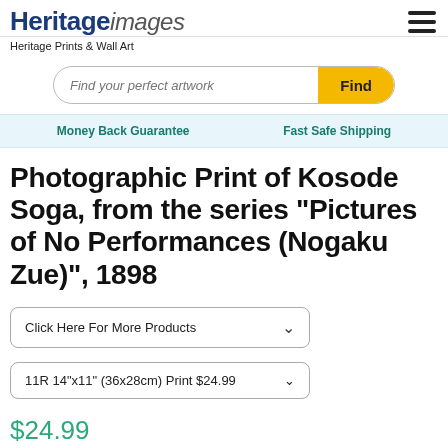Heritage images
Heritage Prints & Wall Art
Find your perfect artwork | Find
Money Back Guarantee   Fast Safe Shipping
Photographic Print of Kosode Soga, from the series "Pictures of No Performances (Nogaku Zue)", 1898
Click Here For More Products
11R 14"x11" (36x28cm) Print $24.99
$24.99